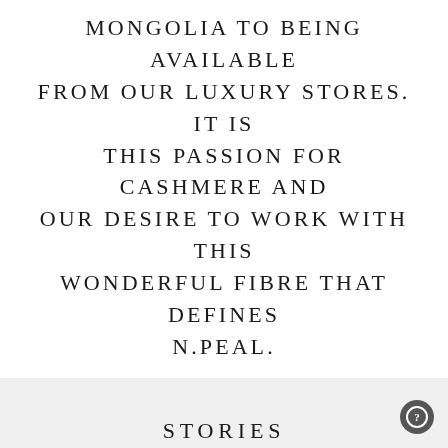MONGOLIA TO BEING AVAILABLE FROM OUR LUXURY STORES. IT IS THIS PASSION FOR CASHMERE AND OUR DESIRE TO WORK WITH THIS WONDERFUL FIBRE THAT DEFINES N.PEAL.
Adam Holdsworth
STORIES